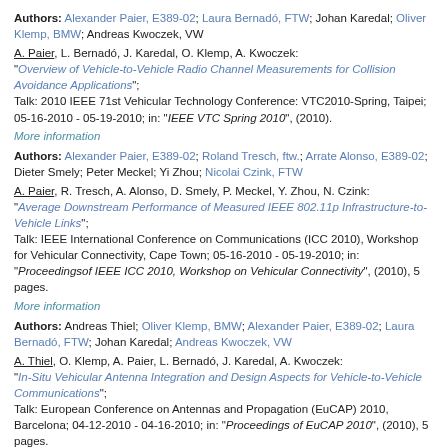Authors: Alexander Paier, E389-02; Laura Bernadó, FTW; Johan Karedal; Oliver Klemp, BMW; Andreas Kwoczek, VW
A. Paier, L. Bernadó, J. Karedal, O. Klemp, A. Kwoczek: "Overview of Vehicle-to-Vehicle Radio Channel Measurements for Collision Avoidance Applications"; Talk: 2010 IEEE 71st Vehicular Technology Conference: VTC2010-Spring, Taipei; 05-16-2010 - 05-19-2010; in: "IEEE VTC Spring 2010", (2010).
More information
Authors: Alexander Paier, E389-02; Roland Tresch, ftw.; Arrate Alonso, E389-02; Dieter Smely; Peter Meckel; Yi Zhou; Nicolai Czink, FTW
A. Paier, R. Tresch, A. Alonso, D. Smely, P. Meckel, Y. Zhou, N. Czink: "Average Downstream Performance of Measured IEEE 802.11p Infrastructure-to-Vehicle Links"; Talk: IEEE International Conference on Communications (ICC 2010), Workshop for Vehicular Connectivity, Cape Town; 05-16-2010 - 05-19-2010; in: "Proceedingsof IEEE ICC 2010, Workshop on Vehicular Connectivity", (2010), 5 pages.
More information
Authors: Andreas Thiel; Oliver Klemp, BMW; Alexander Paier, E389-02; Laura Bernadó, FTW; Johan Karedal; Andreas Kwoczek, VW
A. Thiel, O. Klemp, A. Paier, L. Bernadó, J. Karedal, A. Kwoczek: "In-Situ Vehicular Antenna Integration and Design Aspects for Vehicle-to-Vehicle Communications"; Talk: European Conference on Antennas and Propagation (EuCAP) 2010, Barcelona; 04-12-2010 - 04-16-2010; in: "Proceedings of EuCAP 2010", (2010), 5 pages.